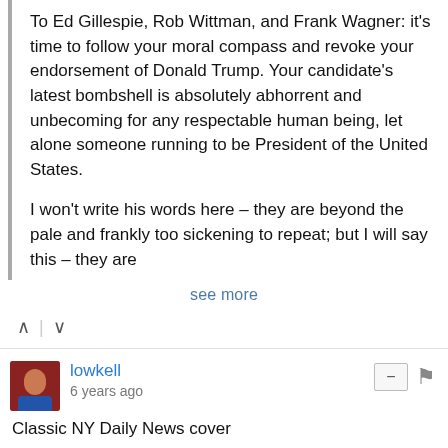To Ed Gillespie, Rob Wittman, and Frank Wagner: it's time to follow your moral compass and revoke your endorsement of Donald Trump. Your candidate's latest bombshell is absolutely abhorrent and unbecoming for any respectable human being, let alone someone running to be President of the United States.
I won't write his words here – they are beyond the pale and frankly too sickening to repeat; but I will say this – they are
see more
lowkell
6 years ago
Classic NY Daily News cover
View — disq.us
lowkell
6 years ago